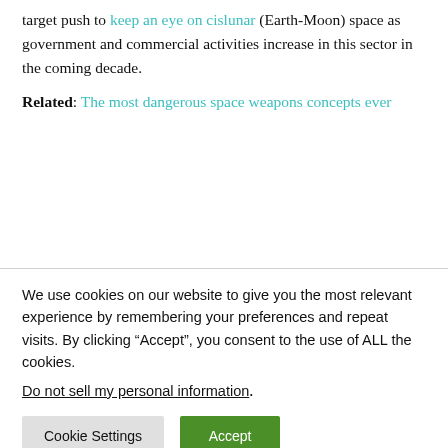target push to keep an eye on cislunar (Earth-Moon) space as government and commercial activities increase in this sector in the coming decade.
Related: The most dangerous space weapons concepts ever
We use cookies on our website to give you the most relevant experience by remembering your preferences and repeat visits. By clicking “Accept”, you consent to the use of ALL the cookies.
Do not sell my personal information.